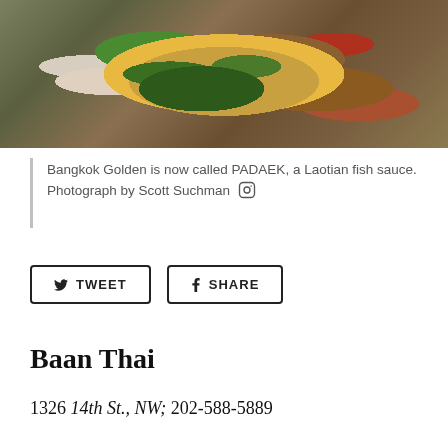[Figure (photo): Overhead photo of a Thai/Laotian dish in a decorative bowl with broccoli, orange vegetables, herbs (dill), meat slices, and chili peppers on a banana leaf, placed on a patterned yellow plate]
Bangkok Golden is now called PADAEK, a Laotian fish sauce. Photograph by Scott Suchman
TWEET
SHARE
Baan Thai
1326 14th St., NW; 202-588-5889